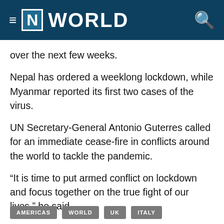≡ [N] WORLD
over the next few weeks.
Nepal has ordered a weeklong lockdown, while Myanmar reported its first two cases of the virus.
UN Secretary-General Antonio Guterres called for an immediate cease-fire in conflicts around the world to tackle the pandemic.
“It is time to put armed conflict on lockdown and focus together on the true fight of our lives,” he said.
AMERICAS  WORLD  UK  ITALY